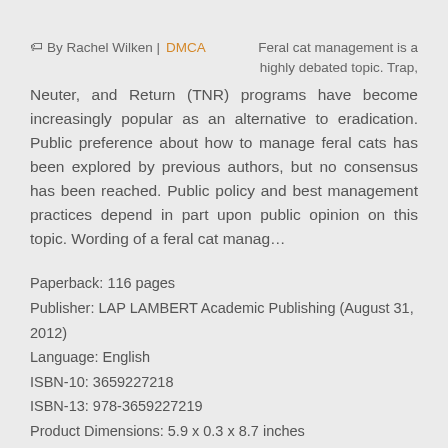🏷 By Rachel Wilken | DMCA    Feral cat management is a highly debated topic. Trap, Neuter, and Return (TNR) programs have become increasingly popular as an alternative to eradication. Public preference about how to manage feral cats has been explored by previous authors, but no consensus has been reached. Public policy and best management practices depend in part upon public opinion on this topic. Wording of a feral cat manag…
Paperback: 116 pages
Publisher: LAP LAMBERT Academic Publishing (August 31, 2012)
Language: English
ISBN-10: 3659227218
ISBN-13: 978-3659227219
Product Dimensions: 5.9 x 0.3 x 8.7 inches
Format: PDF Text TXT book